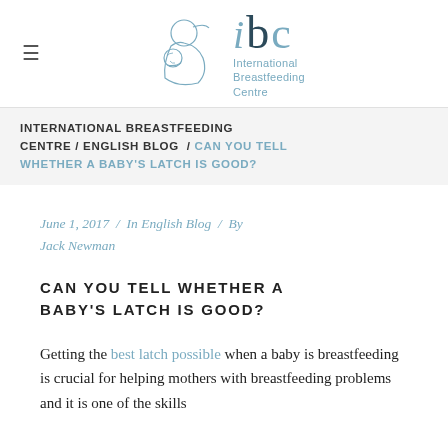[Figure (logo): International Breastfeeding Centre logo with stylized mother and baby outline and 'ibc' text with full name]
INTERNATIONAL BREASTFEEDING CENTRE / ENGLISH BLOG / CAN YOU TELL WHETHER A BABY'S LATCH IS GOOD?
June 1, 2017 / In English Blog / By Jack Newman
CAN YOU TELL WHETHER A BABY'S LATCH IS GOOD?
Getting the best latch possible when a baby is breastfeeding is crucial for helping mothers with breastfeeding problems and it is one of the skills